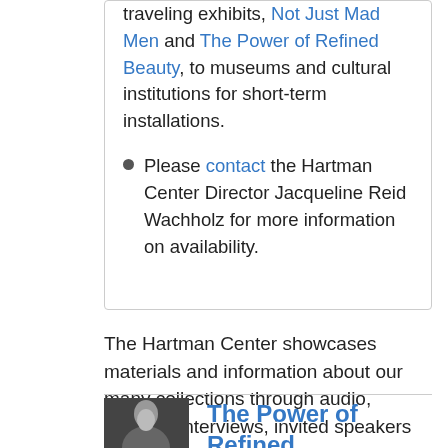traveling exhibits, Not Just Mad Men and The Power of Refined Beauty, to museums and cultural institutions for short-term installations.
Please contact the Hartman Center Director Jacqueline Reid Wachholz for more information on availability.
The Hartman Center showcases materials and information about our many collections through audio, exhibits, interviews, invited speakers and videos.
[Figure (photo): Black and white photo of a person]
The Power of Refined